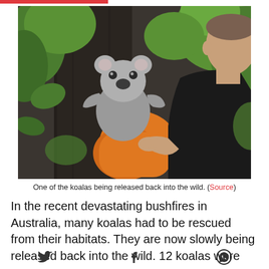[Figure (photo): A man in a black t-shirt holds an orange cloth/bag containing a koala against a dark tree trunk, surrounded by green eucalyptus leaves. The koala clings to the tree while being supported by the man.]
One of the koalas being released back into the wild. (Source)
In the recent devastating bushfires in Australia, many koalas had to be rescued from their habitats. They are now slowly being released back into the wild. 12 koalas were
[Twitter icon] [Facebook icon] [WhatsApp icon]